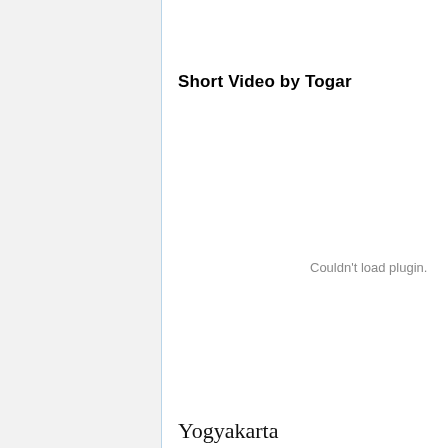Short Video by Togar
[Figure (other): Video plugin area showing 'Couldn't load plugin.' message]
Yogyakarta